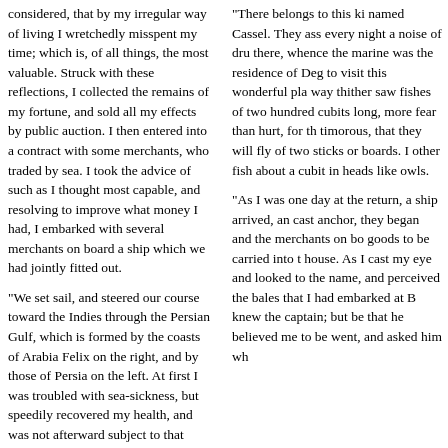considered, that by my irregular way of living I wretchedly misspent my time; which is, of all things, the most valuable. Struck with these reflections, I collected the remains of my fortune, and sold all my effects by public auction. I then entered into a contract with some merchants, who traded by sea. I took the advice of such as I thought most capable, and resolving to improve what money I had, I embarked with several merchants on board a ship which we had jointly fitted out.
"We set sail, and steered our course toward the Indies through the Persian Gulf, which is formed by the coasts of Arabia Felix on the right, and by those of Persia on the left. At first I was troubled with sea-sickness, but speedily recovered my health, and was not afterward subject to that complaint.
"In our voyage we touched at several islands, where we sold or exchanged our goods. One day, whilst under sail, we were becalmed near a small island, but little elevated above the level of the water, and resembling a green meadow. The captain ordered his sails to be
"There belongs to this ki named Cassel. They ass every night a noise of dr there, whence the marin was the residence of De to visit this wonderful pl way thither saw fishes o two hundred cubits long, more fear than hurt, for timorous, that they will of two sticks or boards. other fish about a cubit heads like owls.
"As I was one day at the return, a ship arrived, an cast anchor, they began and the merchants on b goods to be carried into house. As I cast my eye and looked to the name, and perceived the bales that I had embarked at B knew the captain; but be that he believed me to be went, and asked him wh